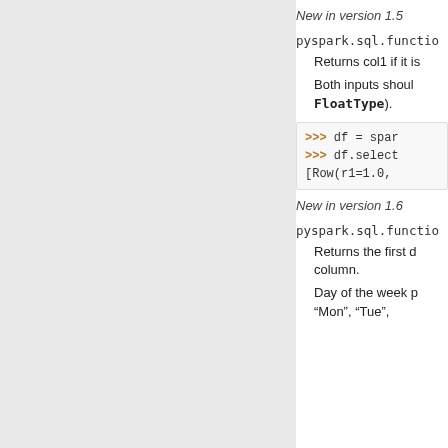New in version 1.5
pyspark.sql.functio...
Returns col1 if it is...
Both inputs should... FloatType).
>>> df = spar...
>>> df.select...
[Row(r1=1.0, ...
New in version 1.6
pyspark.sql.functio...
Returns the first d... column.
Day of the week p... "Mon", "Tue",